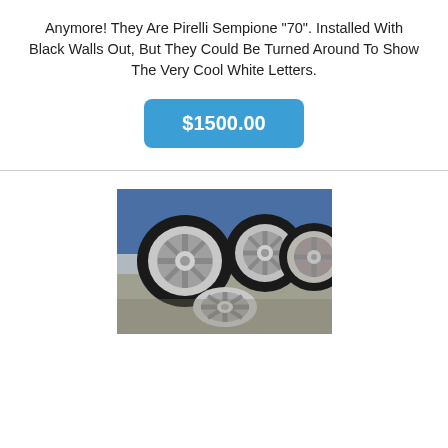Anymore! They Are Pirelli Sempione "70". Installed With Black Walls Out, But They Could Be Turned Around To Show The Very Cool White Letters.
$1500.00
[Figure (photo): Four chrome/aluminum wheels with tires stacked/arranged on a concrete surface, with a blue background.]